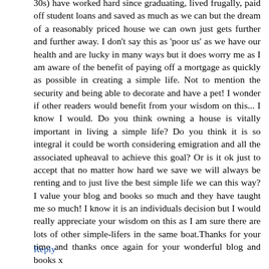30s) have worked hard since graduating, lived frugally, paid off student loans and saved as much as we can but the dream of a reasonably priced house we can own just gets further and further away. I don't say this as 'poor us' as we have our health and are lucky in many ways but it does worry me as I am aware of the benefit of paying off a mortgage as quickly as possible in creating a simple life. Not to mention the security and being able to decorate and have a pet! I wonder if other readers would benefit from your wisdom on this... I know I would. Do you think owning a house is vitally important in living a simple life? Do you think it is so integral it could be worth considering emigration and all the associated upheaval to achieve this goal? Or is it ok just to accept that no matter how hard we save we will always be renting and to just live the best simple life we can this way? I value your blog and books so much and they have taught me so much! I know it is an individuals decision but I would really appreciate your wisdom on this as I am sure there are lots of other simple-lifers in the same boat.Thanks for your time and thanks once again for your wonderful blog and books x
Reply